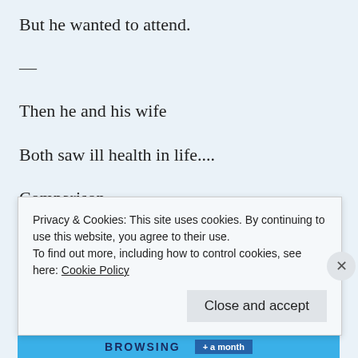But he wanted to attend.
—
Then he and his wife
Both saw ill health in life....
Comparison
With others is sin,
Privacy & Cookies: This site uses cookies. By continuing to use this website, you agree to their use.
To find out more, including how to control cookies, see here: Cookie Policy
Close and accept